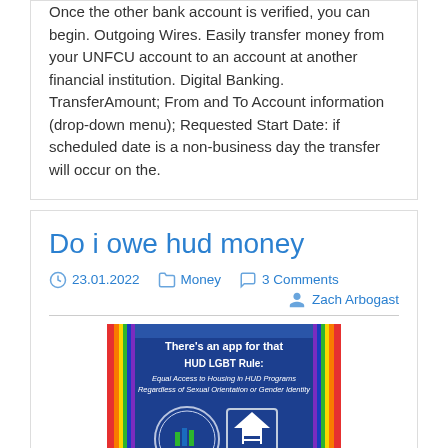Once the other bank account is verified, you can begin. Outgoing Wires. Easily transfer money from your UNFCU account to an account at another financial institution. Digital Banking. TransferAmount; From and To Account information (drop-down menu); Requested Start Date: if scheduled date is a non-business day the transfer will occur on the.
Do i owe hud money
23.01.2022   Money   3 Comments   Zach Arbogast
[Figure (illustration): Blue promotional image for HUD with text: 'There's an app for that HUD LGBT Rule: Equal Access to Housing in HUD Programs Regardless of Sexual Orientation or Gender Identity' with HUD seal and Equal Housing Opportunity logo]
Or, if a family owns a house, the PHA or owner would determine its market value, subtract any mortgage owed as well as costs of disposal, and. Funding for the program comes